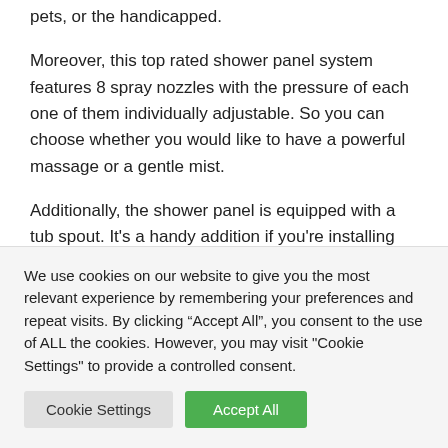The handheld wand is also useful when bathing kids, pets, or the handicapped.
Moreover, this top rated shower panel system features 8 spray nozzles with the pressure of each one of them individually adjustable. So you can choose whether you would like to have a powerful massage or a gentle mist.
Additionally, the shower panel is equipped with a tub spout. It's a handy addition if you're installing this
We use cookies on our website to give you the most relevant experience by remembering your preferences and repeat visits. By clicking “Accept All”, you consent to the use of ALL the cookies. However, you may visit "Cookie Settings" to provide a controlled consent.